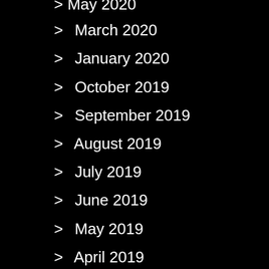> March 2020
> January 2020
> October 2019
> September 2019
> August 2019
> July 2019
> June 2019
> May 2019
> April 2019
> March 2019
> February 2019
> January 2019